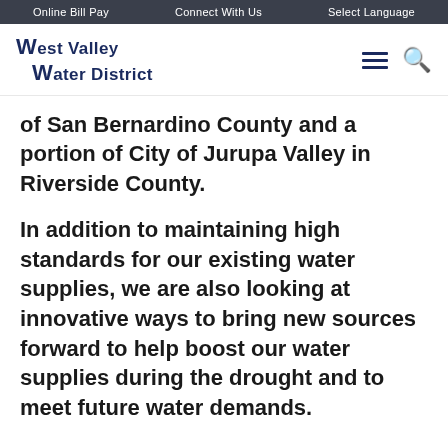Online Bill Pay   Connect With Us   Select Language
[Figure (logo): West Valley Water District logo with stylized W letters and district name in dark navy blue]
of San Bernardino County and a portion of City of Jurupa Valley in Riverside County.
In addition to maintaining high standards for our existing water supplies, we are also looking at innovative ways to bring new sources forward to help boost our water supplies during the drought and to meet future water demands.